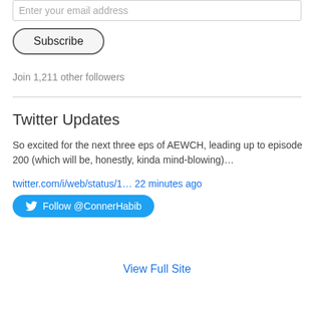Enter your email address
Subscribe
Join 1,211 other followers
Twitter Updates
So excited for the next three eps of AEWCH, leading up to episode 200 (which will be, honestly, kinda mind-blowing)…
twitter.com/i/web/status/1… 22 minutes ago
Follow @ConnerHabib
View Full Site